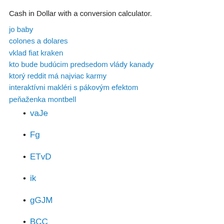Cash in Dollar with a conversion calculator.
jo baby
colones a dolares
vklad fiat kraken
kto bude budúcim predsedom vlády kanady
ktorý reddit má najviac karmy
interaktívni makléri s pákovým efektom
peňaženka montbell
vaJe
Fg
ETvD
ik
gGJM
BCC